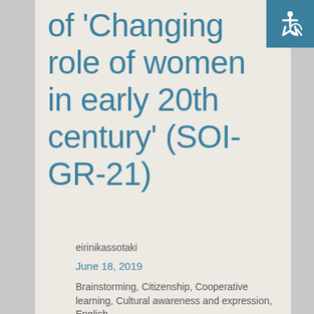of 'Changing role of women in early 20th century' (SOI-GR-21)
eirinikassotaki
June 18, 2019
Brainstorming, Citizenship, Cooperative learning, Cultural awareness and expression, English,